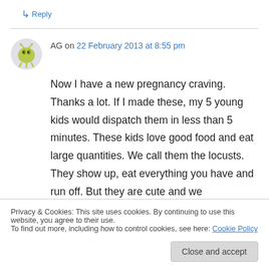chinois.html.
↳ Reply
AG on 22 February 2013 at 8:55 pm
Now I have a new pregnancy craving. Thanks a lot. If I made these, my 5 young kids would dispatch them in less than 5 minutes. These kids love good food and eat large quantities. We call them the locusts. They show up, eat everything you have and run off. But they are cute and we
Privacy & Cookies: This site uses cookies. By continuing to use this website, you agree to their use.
To find out more, including how to control cookies, see here: Cookie Policy
Close and accept